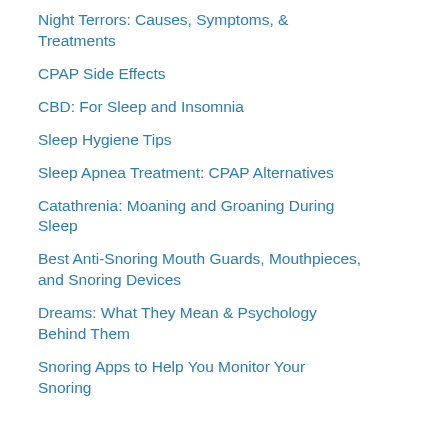Night Terrors: Causes, Symptoms, & Treatments
CPAP Side Effects
CBD: For Sleep and Insomnia
Sleep Hygiene Tips
Sleep Apnea Treatment: CPAP Alternatives
Catathrenia: Moaning and Groaning During Sleep
Best Anti-Snoring Mouth Guards, Mouthpieces, and Snoring Devices
Dreams: What They Mean & Psychology Behind Them
Snoring Apps to Help You Monitor Your Snoring